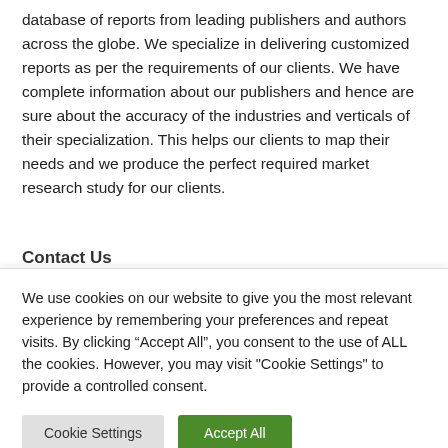database of reports from leading publishers and authors across the globe. We specialize in delivering customized reports as per the requirements of our clients. We have complete information about our publishers and hence are sure about the accuracy of the industries and verticals of their specialization. This helps our clients to map their needs and we produce the perfect required market research study for our clients.
Contact Us
We use cookies on our website to give you the most relevant experience by remembering your preferences and repeat visits. By clicking “Accept All”, you consent to the use of ALL the cookies. However, you may visit "Cookie Settings" to provide a controlled consent.